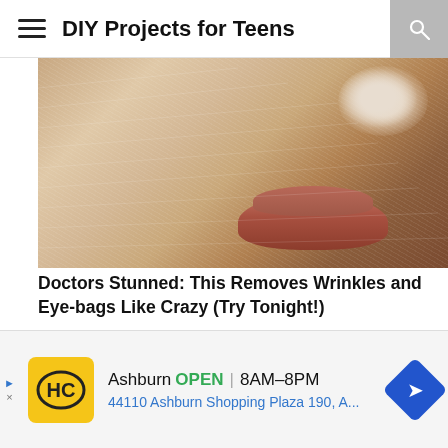DIY Projects for Teens
[Figure (photo): Close-up photo of a face with a dried clay or face mask applied, showing the texture of the mask over skin around the cheek and mouth area.]
Doctors Stunned: This Removes Wrinkles and Eye-bags Like Crazy (Try Tonight!)
Trending Stories
[Figure (illustration): Comic-style illustrated image showing a close-up of an animated character's face with orange hair and stylized eyelashes.]
Ashburn  OPEN | 8AM–8PM
44110 Ashburn Shopping Plaza 190, A...